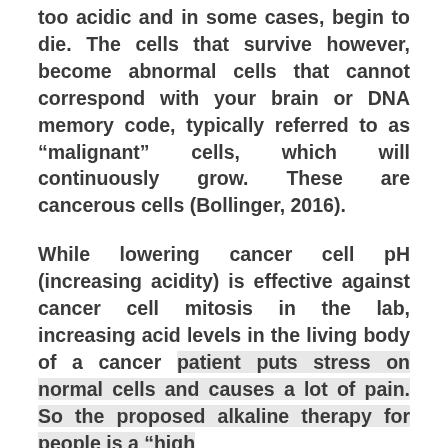too acidic and in some cases, begin to die. The cells that survive however, become abnormal cells that cannot correspond with your brain or DNA memory code, typically referred to as “malignant” cells, which will continuously grow. These are cancerous cells (Bollinger, 2016).
While lowering cancer cell pH (increasing acidity) is effective against cancer cell mitosis in the lab, increasing acid levels in the living body of a cancer patient puts stress on normal cells and causes a lot of pain. So the proposed alkaline therapy for people is a “high